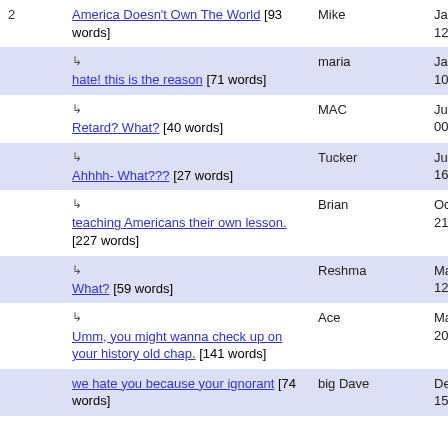| # | Title | Author | Date |
| --- | --- | --- | --- |
| 2 | America Doesn't Own The World [93 words] | Mike | Jan 25, 2006 12:57 |
|  | ↳ hate! this is the reason [71 words] | maria | Jan 27, 2006 10:00 |
|  | ↳ Retard? What? [40 words] | MAC | Jun 30, 2006 00:02 |
|  | ↳ Ahhhh- What??? [27 words] | Tucker | Jun 5, 2007 16:41 |
|  | ↳ teaching Americans their own lesson. [227 words] | Brian | Oct 6, 2009 21:34 |
|  | ↳ What? [59 words] | Reshma | Mar 12, 2010 12:02 |
|  | ↳ Umm, you might wanna check up on your history old chap. [141 words] | Ace | Mar 16, 2010 20:06 |
|  | we hate you because your ignorant [74 words] | big Dave | Dec 17, 2005 15:41 |